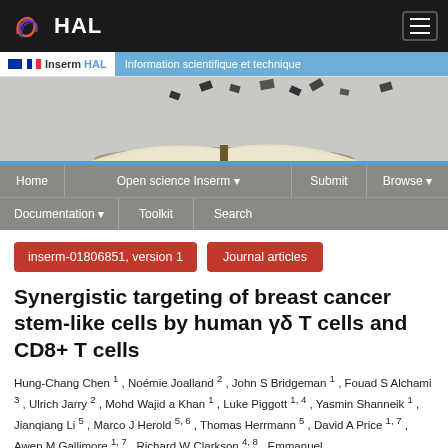HAL - Inserm HAL
[Figure (screenshot): InsermHAL website banner with book image and navigation menu]
inserm-01806851, version 1
Journal articles
Synergistic targeting of breast cancer stem-like cells by human γδ T cells and CD8+ T cells
Hung-Chang Chen 1 , Noémie Joalland 2 , John S Bridgeman 1 , Fouad S Alchami 3 , Ulrich Jarry 2 , Mohd Wajid a Khan 1 , Luke Piggott 1, 4 , Yasmin Shanneik 1 , Jianqiang Li 5 , Marco J Herold 5, 6 , Thomas Herrmann 5 , David A Price 1, 7 , Awen M Gallimore 1, 7 , Richard W Clarkson 4, 8 , Emmanuel